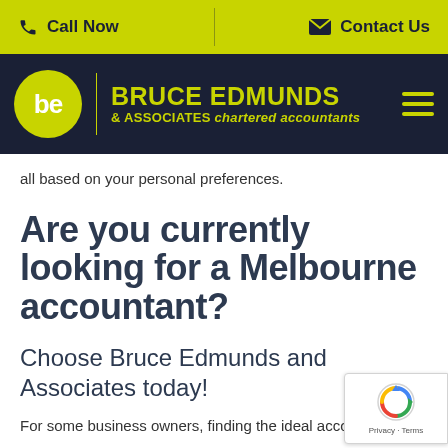Call Now   Contact Us
[Figure (logo): Bruce Edmunds & Associates chartered accountants logo with lime green circle containing 'be', yellow divider, firm name in yellow on dark navy background, and hamburger menu icon]
all based on your personal preferences.
Are you currently looking for a Melbourne accountant?
Choose Bruce Edmunds and Associates today!
For some business owners, finding the ideal accountant